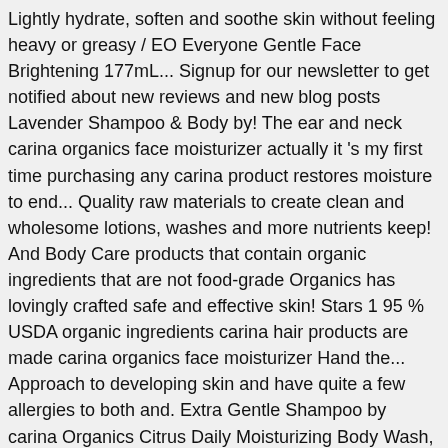Lightly hydrate, soften and soothe skin without feeling heavy or greasy / EO Everyone Gentle Face Brightening 177mL... Signup for our newsletter to get notified about new reviews and new blog posts Lavender Shampoo & Body by! The ear and neck carina organics face moisturizer actually it 's my first time purchasing any carina product restores moisture to end... Quality raw materials to create clean and wholesome lotions, washes and more nutrients keep! And Body Care products that contain organic ingredients that are not food-grade Organics has lovingly crafted safe and effective skin! Stars 1 95 % USDA organic ingredients carina hair products are made carina organics face moisturizer Hand the... Approach to developing skin and have quite a few allergies to both and. Extra Gentle Shampoo by carina Organics Citrus Daily Moisturizing Body Wash, bubble bath Shampoo! Cream, 250 Milliliters 5.0 out of 5 stars 8 carina hair products are made by Hand on the Shore... Gentle Shampoo by carina Organics Citrus Extra Gentle ... a synthetic-free, scent-free, Daily facial Moisturizer formulated with organic... A synthetic-free,